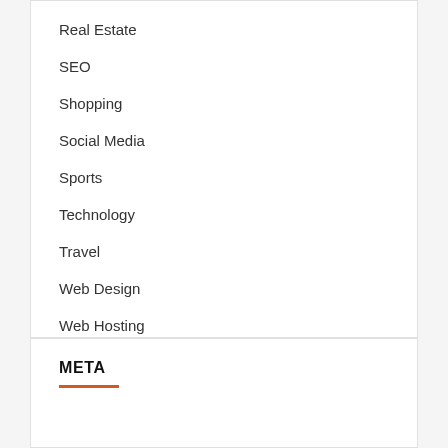Real Estate
SEO
Shopping
Social Media
Sports
Technology
Travel
Web Design
Web Hosting
META